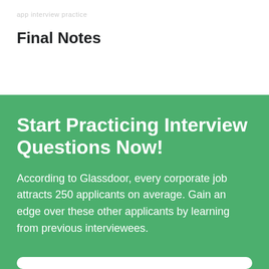app interview practice
Final Notes
Start Practicing Interview Questions Now!
According to Glassdoor, every corporate job attracts 250 applicants on average. Gain an edge over these other applicants by learning from previous interviewees.